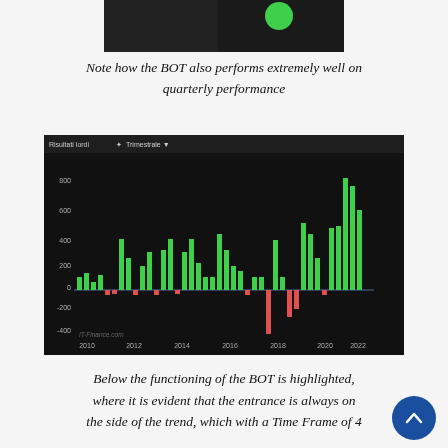[Figure (screenshot): Top portion of a dark trading interface screenshot — partially visible at the top of the page]
Note how the BOT also performs extremely well on quarterly performance
[Figure (bar-chart): Quarterly performance bar chart from IT-Finance.com showing mostly green (positive) bars from 2010 to 2022, with a few red (negative) bars around 2012, 2016, 2018. Y-axis ranges from about -400 to 800.]
Below the functioning of the BOT is highlighted, where it is evident that the entrance is always on the side of the trend, which with a Time Frame of 4